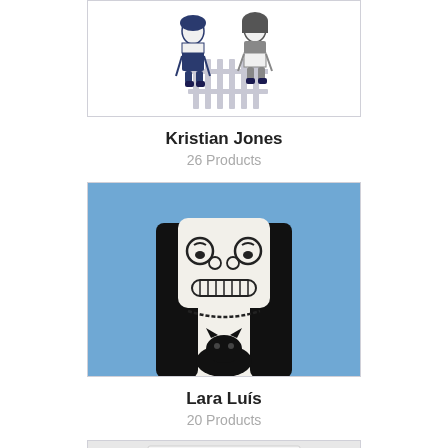[Figure (illustration): Illustration of two children in school uniforms standing by a white picket fence, drawn in a navy blue and grey line art style on white background.]
Kristian Jones
26 Products
[Figure (illustration): Illustration of a person with long black hair, an expressive cartoon face with circular eyes and a wide grin, wearing a necklace and holding a black cat, on a blue background.]
Lara Luís
20 Products
[Figure (illustration): Partially visible illustration at the bottom of the page showing what appears to be a framed image with a grey/blue abstract shape, partially cropped.]